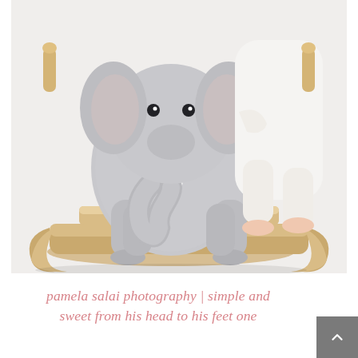[Figure (photo): A baby in a white onesie sitting on a gray plush elephant rocking toy with a wooden rocker base and white ribbon bow, photographed against a white background.]
pamela salai photography | simple and sweet from his head to his feet one